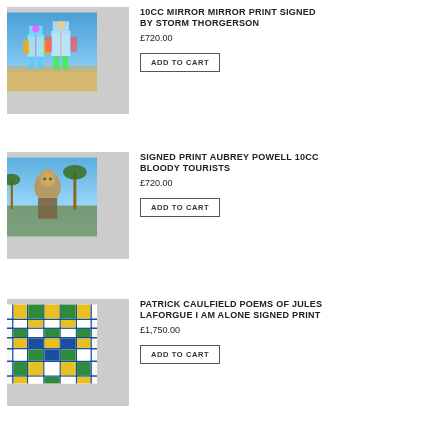[Figure (photo): Photo of two colorful robot-like figures made of mirrored/bright pieces standing on a beach, blue sky]
10CC MIRROR MIRROR PRINT SIGNED BY STORM THORGERSON
£720.00
ADD TO CART
[Figure (photo): Photo of a figure/person in tropical setting, blue sky and palm trees]
SIGNED PRINT AUBREY POWELL 10CC BLOODY TOURISTS
£720.00
ADD TO CART
[Figure (photo): Photo of a colorful grid/tiled floor with blue, yellow, green, and white squares in perspective]
PATRICK CAULFIELD POEMS OF JULES LAFORGUE I AM ALONE SIGNED PRINT
£1,750.00
ADD TO CART